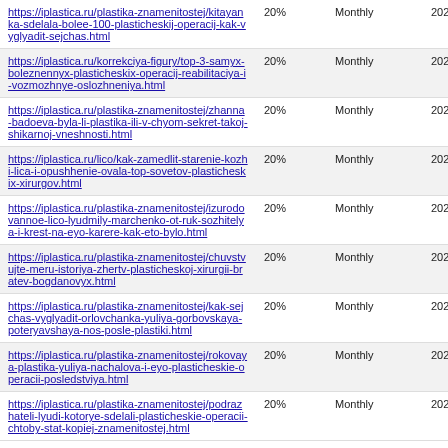| URL | Priority | Change Frequency | Last Modified |
| --- | --- | --- | --- |
| https://iplastica.ru/plastika-znamenitostej/kitayanka-sdelala-bolee-100-plasticheskij-operacij-kak-vyglyadit-sejchas.html | 20% | Monthly | 2020-12-14 10:31 |
| https://iplastica.ru/korrekciya-figury/top-3-samyx-boleznennyx-plasticheskix-operacij-reabilitaciya-i-vozmozhnye-oslozhneniya.html | 20% | Monthly | 2020-12-14 10:24 |
| https://iplastica.ru/plastika-znamenitostej/zhanna-badoeva-byla-li-plastika-ili-v-chyom-sekret-takoj-shikarnoj-vneshnosti.html | 20% | Monthly | 2020-12-14 10:14 |
| https://iplastica.ru/lico/kak-zamedlit-starenie-kozhi-lica-i-opushhenie-ovala-top-sovetov-plasticheskix-xirurgov.html | 20% | Monthly | 2020-12-14 10:06 |
| https://iplastica.ru/plastika-znamenitostej/izurodovannoe-lico-lyudmily-marchenko-ot-ruk-sozhitelya-i-krest-na-eyo-karere-kak-eto-bylo.html | 20% | Monthly | 2020-12-14 09:58 |
| https://iplastica.ru/plastika-znamenitostej/chuvstvujte-meru-istoriya-zhertv-plasticheskoj-xirurgii-bratev-bogdanovyx.html | 20% | Monthly | 2020-12-14 09:48 |
| https://iplastica.ru/plastika-znamenitostej/kak-sejchas-vyglyadit-orlovchanka-yuliya-gorbovskaya-poteryavshaya-nos-posle-plastiki.html | 20% | Monthly | 2020-12-14 09:21 |
| https://iplastica.ru/plastika-znamenitostej/rokovaya-plastika-yuliya-nachalova-i-eyo-plasticheskie-operacii-posledstviya.html | 20% | Monthly | 2020-12-14 08:53 |
| https://iplastica.ru/plastika-znamenitostej/podrazhateli-lyudi-kotorye-sdelali-plasticheskie-operacii-chtoby-stat-kopiej-znamenitostej.html | 20% | Monthly | 2020-12-09 11:56 |